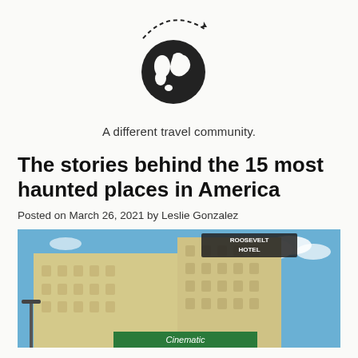[Figure (logo): Globe with airplane icon — travel community logo with dashed circular flight path around a world globe]
A different travel community.
The stories behind the 15 most haunted places in America
Posted on March 26, 2021 by Leslie Gonzalez
[Figure (photo): Looking up at the Roosevelt Hotel building exterior against a blue sky, with the 'Roosevelt Hotel' sign prominent at the top]